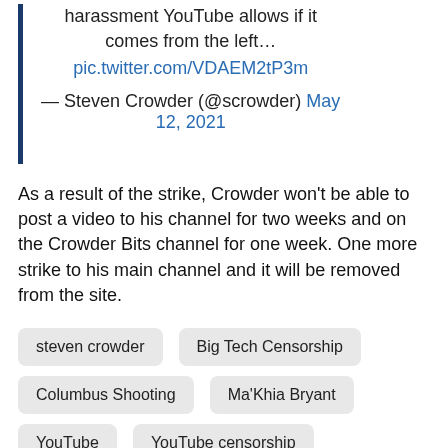harassment YouTube allows if it comes from the left… pic.twitter.com/VDAEM2tP3m
— Steven Crowder (@scrowder) May 12, 2021
As a result of the strike, Crowder won't be able to post a video to his channel for two weeks and on the Crowder Bits channel for one week. One more strike to his main channel and it will be removed from the site.
steven crowder
Big Tech Censorship
Columbus Shooting
Ma'Khia Bryant
YouTube
YouTube censorship
Hard Strike
YouTube Suspension